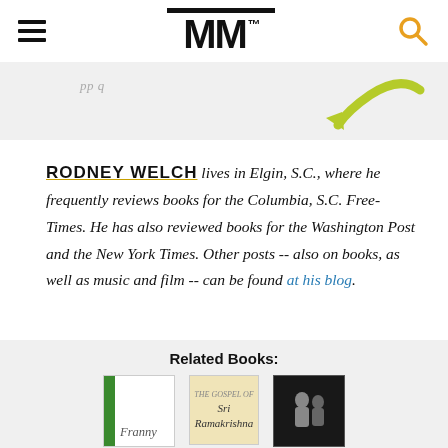MM
[Figure (illustration): Gray banner with a curved green arrow pointing left, partially visible text above]
RODNEY WELCH lives in Elgin, S.C., where he frequently reviews books for the Columbia, S.C. Free-Times. He has also reviewed books for the Washington Post and the New York Times. Other posts -- also on books, as well as music and film -- can be found at his blog.
Related Books:
[Figure (illustration): Three book cover thumbnails: Franny (green spine), The Gospel of Sri Ramakrishna (tan/beige cover), and a dark cover with a person]